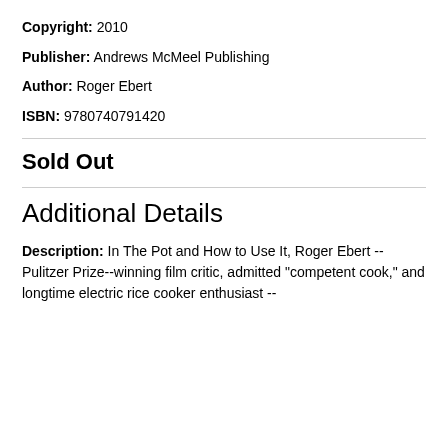Copyright: 2010
Publisher: Andrews McMeel Publishing
Author: Roger Ebert
ISBN: 9780740791420
Sold Out
Additional Details
Description: In The Pot and How to Use It, Roger Ebert -- Pulitzer Prize--winning film critic, admitted "competent cook," and longtime electric rice cooker enthusiast --